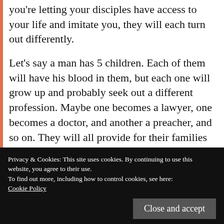you're letting your disciples have access to your life and imitate you, they will each turn out differently.
Let's say a man has 5 children. Each of them will have his blood in them, but each one will grow up and probably seek out a different profession. Maybe one becomes a lawyer, one becomes a doctor, and another a preacher, and so on. They will all provide for their families in different manners, but very likely have similar
Privacy & Cookies: This site uses cookies. By continuing to use this website, you agree to their use. To find out more, including how to control cookies, see here: Cookie Policy